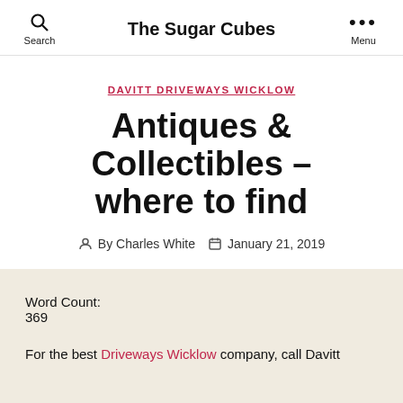The Sugar Cubes
DAVITT DRIVEWAYS WICKLOW
Antiques & Collectibles – where to find
By Charles White  January 21, 2019
Word Count:
369
For the best Driveways Wicklow company, call Davitt